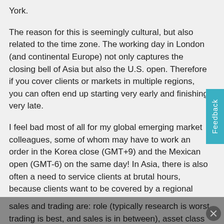York.
The reason for this is seemingly cultural, but also related to the time zone. The working day in London (and continental Europe) not only captures the closing bell of Asia but also the U.S. open. Therefore if you cover clients or markets in multiple regions, you can often end up starting very early and finishing very late.
I feel bad most of all for my global emerging market colleagues, some of whom may have to work an order in the Korea close (GMT+9) and the Mexican open (GMT-6) on the same day! In Asia, there is also often a need to service clients at brutal hours, because clients want to be covered by a regional specialist, such are the many nuances of trading Asian markets.
The other factors that generally determine your hours in sales and trading are: role (typically research is worst, trading is best, and sales is in between), asset class (fixe